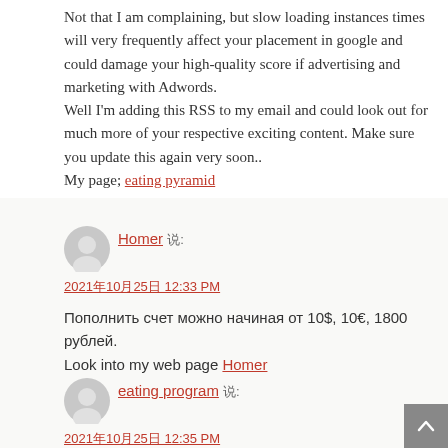Not that I am complaining, but slow loading instances times will very frequently affect your placement in google and could damage your high-quality score if advertising and marketing with Adwords.
Well I'm adding this RSS to my email and could look out for much more of your respective exciting content. Make sure you update this again very soon..
My page; eating pyramid
Homer 说: 2021年10月25日 12:33 PM
Пополнить счет можно начиная от 10$, 10€, 1800 рублей.
Look into my web page Homer
eating program 说: 2021年10月25日 12:35 PM